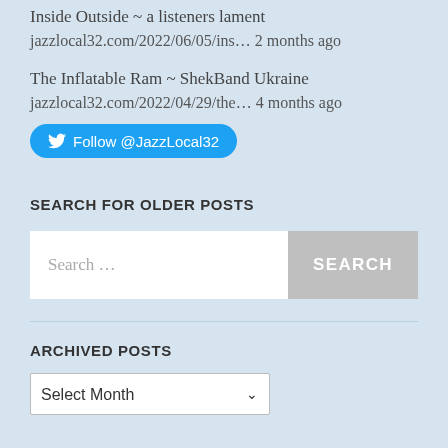Inside Outside ~ a listeners lament
jazzlocal32.com/2022/06/05/ins… 2 months ago
The Inflatable Ram ~ ShekBand Ukraine
jazzlocal32.com/2022/04/29/the… 4 months ago
Follow @JazzLocal32
SEARCH FOR OLDER POSTS
Search …
SEARCH
ARCHIVED POSTS
Select Month